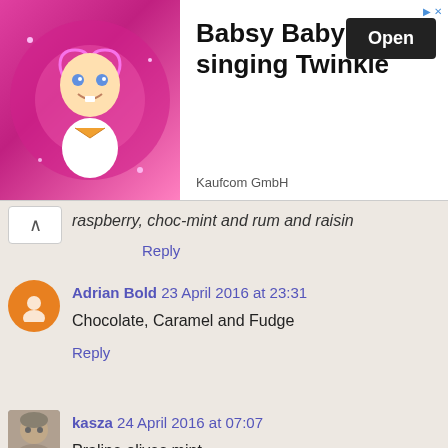[Figure (screenshot): Advertisement banner for 'Babsy Baby singing Twinkle' by Kaufcom GmbH with an animated baby image on pink background and an Open button]
raspberry, choc-mint and rum and raisin
Reply
Adrian Bold 23 April 2016 at 23:31
Chocolate, Caramel and Fudge
Reply
kasza 24 April 2016 at 07:07
Praline olives mint
Reply
Emma 24 April 2016 at 07:46